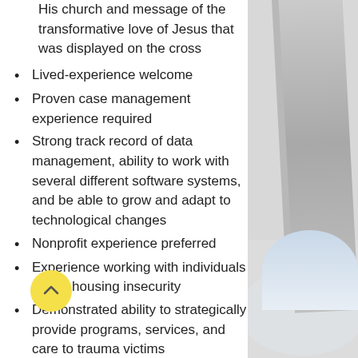His church and message of the transformative love of Jesus that was displayed on the cross
Lived-experience welcome
Proven case management experience required
Strong track record of data management, ability to work with several different software systems, and be able to grow and adapt to technological changes
Nonprofit experience preferred
Experience working with individuals facing housing insecurity
Demonstrated ability to strategically provide programs, services, and care to trauma victims
[Figure (illustration): Gray-scale decorative building/cityscape image on the right side of the page]